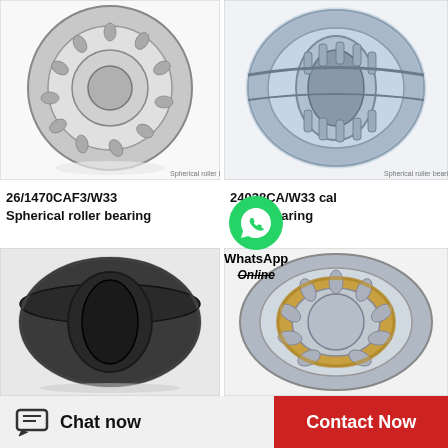[Figure (photo): 26/1470CAF3/W33 Spherical roller bearing product photo - metallic bearing with rollers visible]
26/1470CAF3/W33 Spherical roller bearing
[Figure (photo): 24038CA/W33 Spherical roller bearing product photo - metallic bearing side view]
24038CA/W33 cal roller bearing
[Figure (illustration): WhatsApp Online icon with green WhatsApp logo]
[Figure (photo): Spherical plain bearing or insert bearing - dark/black bearing photo]
[Figure (photo): Spherical roller bearing cutaway showing internal rollers with cage, gold/bronze colored cage]
Chat now
Contact Now